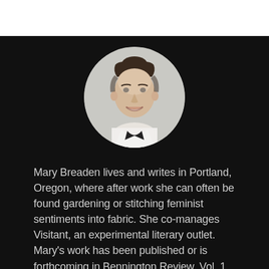[Figure (photo): Circular portrait photo of Mary Breaden, a young woman with dark hair pulled up, smiling, wearing a white collar, against a light grey background.]
Mary Breaden lives and writes in Portland, Oregon, where after work she can often be found gardening or stitching feminist sentiments into fabric. She co-manages Visitant, an experimental literary outlet. Mary's work has been published or is forthcoming in Bennington Review, Vol. 1 Brooklyn, and Joyland, among others. Follow her @MaryBreaden for biking horror stories, writing craft thoughts, and rants